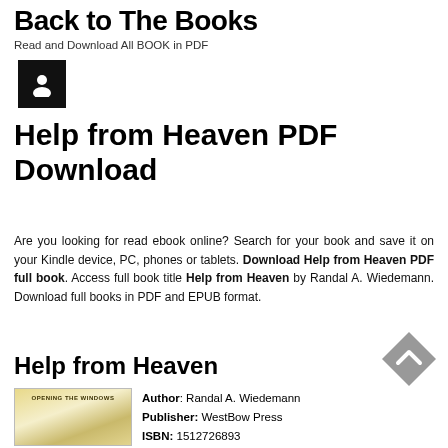Back to The Books
Read and Download All BOOK in PDF
[Figure (illustration): Black square avatar/user icon with white silhouette person symbol]
Help from Heaven PDF Download
Are you looking for read ebook online? Search for your book and save it on your Kindle device, PC, phones or tablets. Download Help from Heaven PDF full book. Access full book title Help from Heaven by Randal A. Wiedemann. Download full books in PDF and EPUB format.
Help from Heaven
[Figure (illustration): Gray diamond-shaped back-to-top button with upward chevron arrow]
[Figure (photo): Book cover showing 'Opening the Windows' with yellow/golden gradient background]
Author: Randal A. Wiedemann
Publisher: WestBow Press
ISBN: 1512726893